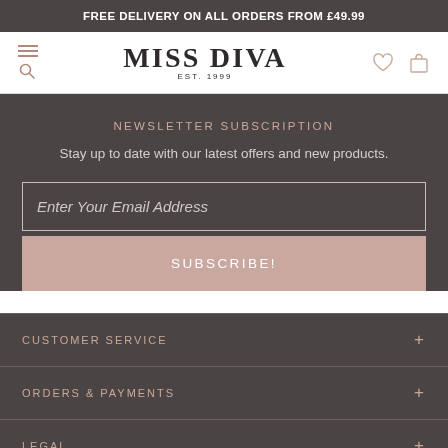FREE DELIVERY ON ALL ORDERS FROM £49.99
[Figure (logo): Miss Diva logo with EST. 1999, hamburger menu icon, search icon, heart icon, and bag icon in header navigation]
NEWSLETTER SUBSCRIPTION
Stay up to date with our latest offers and new products.
Enter Your Email Address
SUBSCRIBE!
CUSTOMER SERVICE
ORDERS & PAYMENTS
LEGAL